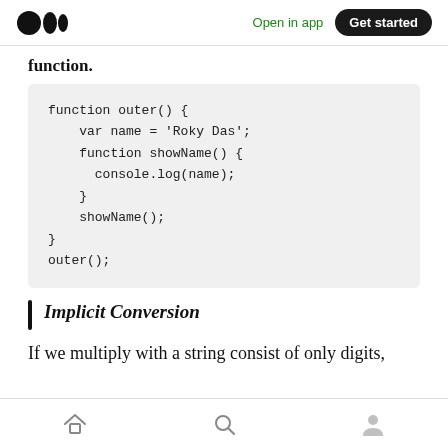Medium logo | Open in app | Get started
function.
[Figure (screenshot): Code block showing JavaScript closure example with function outer(), var name = 'Roky Das', function showName(), console.log(name), showName(), and outer()]
Implicit Conversion
If we multiply with a string consist of only digits,
Home | Search | Profile navigation icons